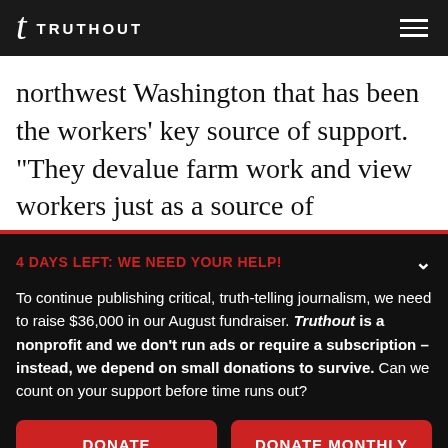t TRUTHOUT
northwest Washington that has been the workers' key source of support. “They devalue farm work and view workers just as a source of
4 DAYS LEFT: WE NEED YOUR HELP!
To continue publishing critical, truth-telling journalism, we need to raise $36,000 in our August fundraiser. Truthout is a nonprofit and we don’t run ads or require a subscription – instead, we depend on small donations to survive. Can we count on your support before time runs out?
DONATE | DONATE MONTHLY